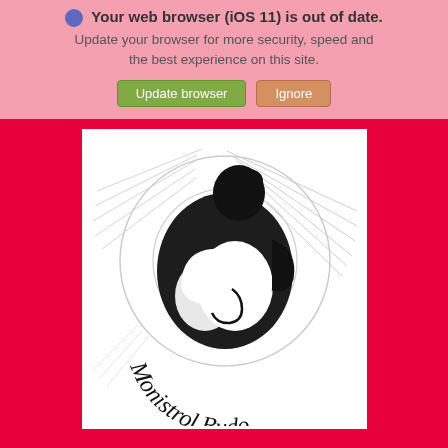Your web browser (iOS 11) is out of date. Update your browser for more security, speed and the best experience on this site.
[Figure (logo): Two martial arts figures in a circular yin-yang style composition with the text 'Monistrol Budo' in cursive script below]